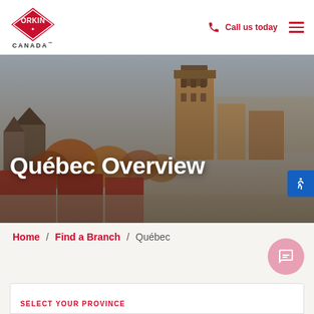[Figure (logo): Orkin Canada red diamond logo with CANADA text below]
Call us today
[Figure (photo): Aerial view of Québec City showing Château Frontenac and surrounding historic buildings]
Québec Overview
Home / Find a Branch / Québec
SELECT YOUR PROVINCE